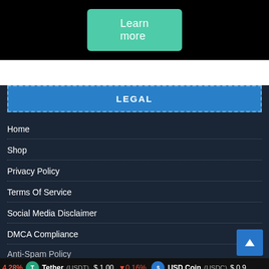[Figure (screenshot): Black background section with a teal 'Learn more' button centered]
LEGAL
Home
Shop
Privacy Policy
Terms Of Service
Social Media Disclaimer
DMCA Compliance
Anti-Spam Policy
4.28%  Tether (USDT)  $ 1.00  ↓0.16%  USD Coin (USDC)  $ 0.9…